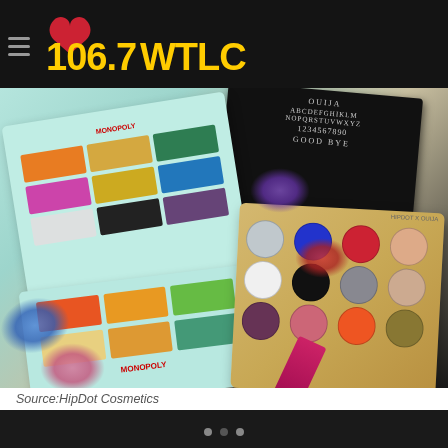106.7 WTLC
[Figure (photo): Makeup palettes from HipDot Cosmetics including a Monopoly eyeshadow palette and an Ouija board-themed eyeshadow palette, with scattered eyeshadow powder and a lipstick]
Source:HipDot Cosmetics
Makeup staples are for the picking this Black Friday. For folks on the hunt for clean beauty brands, HipDot Cosmetics has come to the rescue. This LA beauty brand offers lip essentials, eyeshadow palette collaborations, face makeup pick, and